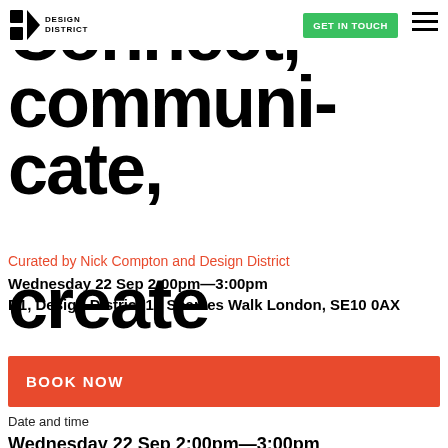Design District | GET IN TOUCH
Connect, communicate, create
Curated by Nick Compton and Design District
Wednesday 22 Sep 2:00pm—3:00pm
D1, Design District 13 Soames Walk London, SE10 0AX
BOOK NOW
Date and time
Wednesday 22 Sep 2:00pm—3:00pm
Location
D1, Design District 13 Soames Walk London,